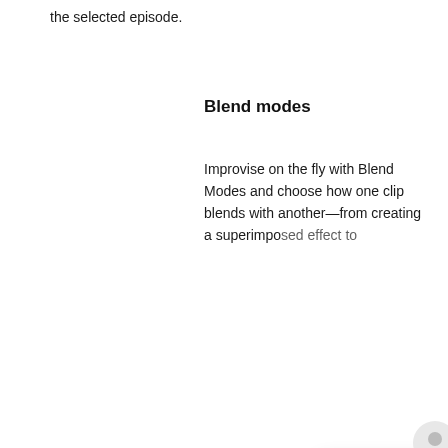the selected episode.
Blend modes
Improvise on the fly with Blend Modes and choose how one clip blends with another—from creating a superimposed effect to
[Figure (screenshot): Video thumbnail showing a video editing software interface with the title 'BLEND MODES' overlaid and a play button in the center.]
Got any questions? I'm happy to help.
effects. Each Blend Mode uses a different form to combine the color